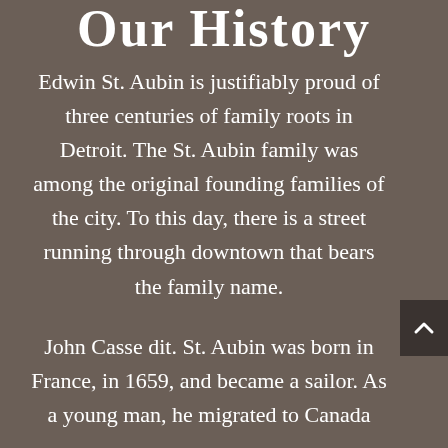Our History
Edwin St. Aubin is justifiably proud of three centuries of family roots in Detroit. The St. Aubin family was among the original founding families of the city. To this day, there is a street running through downtown that bears the family name.
John Casse dit. St. Aubin was born in France, in 1659, and became a sailor. As a young man, he migrated to Canada